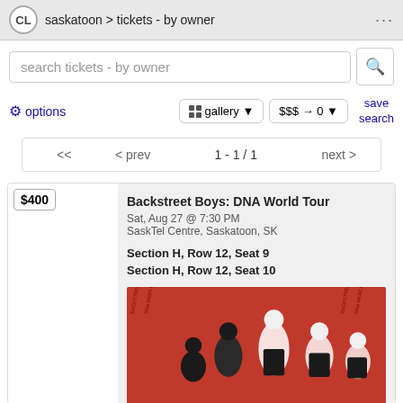saskatoon > tickets - by owner
search tickets - by owner
options | gallery | $$$ → 0 | save search
<< < prev  1 - 1 / 1  next >
$400
Backstreet Boys: DNA World Tour
Sat, Aug 27 @ 7:30 PM
SaskTel Centre, Saskatoon, SK
Section H, Row 12, Seat 9
Section H, Row 12, Seat 10
[Figure (photo): Backstreet Boys DNA World Tour promotional image with band members on red background]
Aug 5  Backstreet Boys-Sasktel Centre August 27  $400